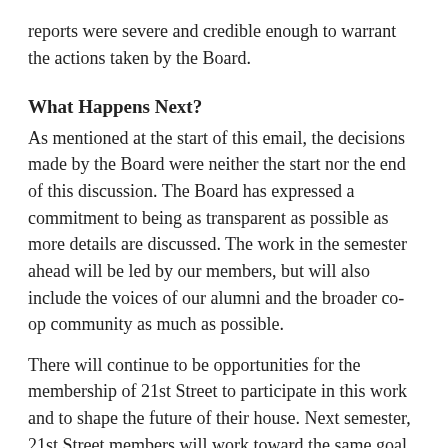reports were severe and credible enough to warrant the actions taken by the Board.
What Happens Next?
As mentioned at the start of this email, the decisions made by the Board were neither the start nor the end of this discussion. The Board has expressed a commitment to being as transparent as possible as more details are discussed. The work in the semester ahead will be led by our members, but will also include the voices of our alumni and the broader co-op community as much as possible.
There will continue to be opportunities for the membership of 21st Street to participate in this work and to shape the future of their house. Next semester, 21st Street members will work toward the same goal of preserving 21st Street using a plan they developed. Their plan is designed to show that all wonderful things about their house are not mutually exclusive with long-term sustainability and compliance with policy and the law. For example, the plan includes stopping